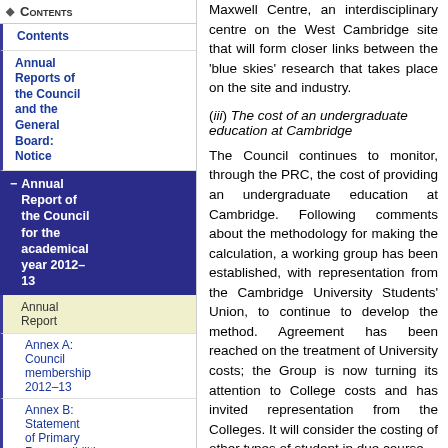CONTENTS
Contents
Annual Reports of the Council and the General Board: Notice
Annual Report of the Council for the academical year 2012–13
Annual Report
Annex A: Council membership 2012–13
Annex B: Statement of Primary Responsibilities
Annual Report of the General
Maxwell Centre, an interdisciplinary centre on the West Cambridge site that will form closer links between the 'blue skies' research that takes place on the site and industry.
(iii) The cost of an undergraduate education at Cambridge
The Council continues to monitor, through the PRC, the cost of providing an undergraduate education at Cambridge. Following comments about the methodology for making the calculation, a working group has been established, with representation from the Cambridge University Students' Union, to continue to develop the method. Agreement has been reached on the treatment of University costs; the Group is now turning its attention to College costs and has invited representation from the Colleges. It will consider the costing of other types of student in due course.
(iv) Sustainability metrics